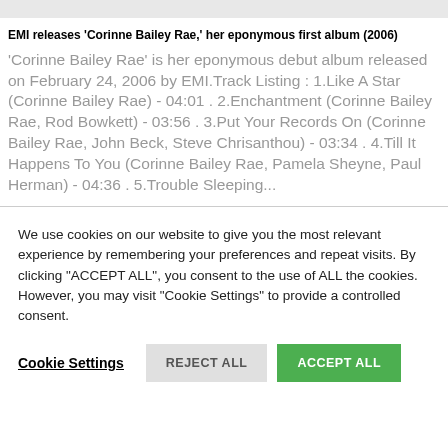EMI releases 'Corinne Bailey Rae,' her eponymous first album (2006)
'Corinne Bailey Rae' is her eponymous debut album released on February 24, 2006 by EMI.Track Listing : 1.Like A Star (Corinne Bailey Rae) - 04:01 . 2.Enchantment (Corinne Bailey Rae, Rod Bowkett) - 03:56 . 3.Put Your Records On (Corinne Bailey Rae, John Beck, Steve Chrisanthou) - 03:34 . 4.Till It Happens To You (Corinne Bailey Rae, Pamela Sheyne, Paul Herman) - 04:36 . 5.Trouble Sleeping...
We use cookies on our website to give you the most relevant experience by remembering your preferences and repeat visits. By clicking "ACCEPT ALL", you consent to the use of ALL the cookies. However, you may visit "Cookie Settings" to provide a controlled consent.
Cookie Settings   REJECT ALL   ACCEPT ALL